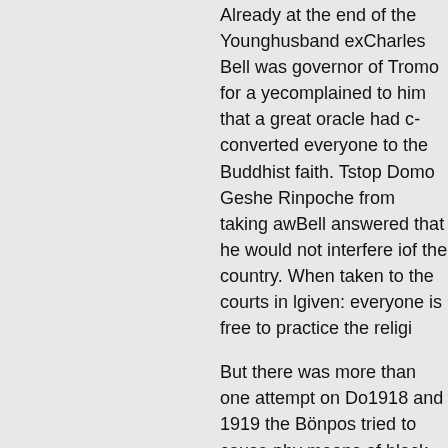Already at the end of the Younghusband ex... Charles Bell was governor of Tromo for a ye... complained to him that a great oracle had c... converted everyone to the Buddhist faith. T... stop Domo Geshe Rinpoche from taking aw... Bell answered that he would not interfere i... of the country. When taken to the courts in ... given: everyone is free to practice the religi...
But there was more than one attempt on Do... 1918 and 1919 the Bönpos tried to cause p... by means of black magic. Rinpoche foiled t... clairvoyance and crushed the evil by his su... arose as Chenrezig Senge Tra and subdued... to kill him.
Domo Geshe Rinpoche tamed even more int... a Mongolian Geshe returned from pilgrima... Dungkar Gonpa on his way to Lhasa. Rinpo... Umdze Sherab, who later became the famo... asked the Geshe to stay, as he had a high fe... But the Geshe did not accept the invitation.